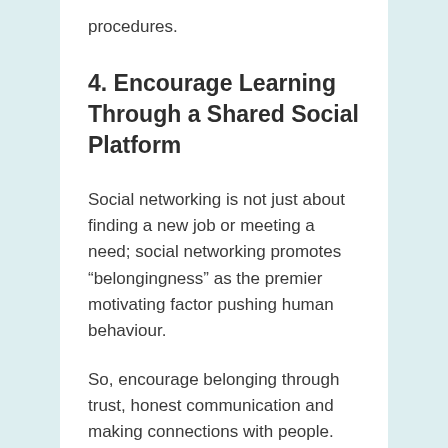procedures.
4. Encourage Learning Through a Shared Social Platform
Social networking is not just about finding a new job or meeting a need; social networking promotes “belongingness” as the premier motivating factor pushing human behaviour.
So, encourage belonging through trust, honest communication and making connections with people.